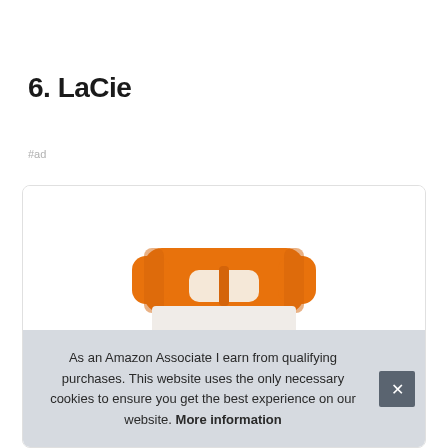6. LaCie
#ad
[Figure (photo): LaCie rugged external hard drive with orange rubber bumper/handle, shown from above on white background inside a product card with rounded border]
As an Amazon Associate I earn from qualifying purchases. This website uses the only necessary cookies to ensure you get the best experience on our website. More information